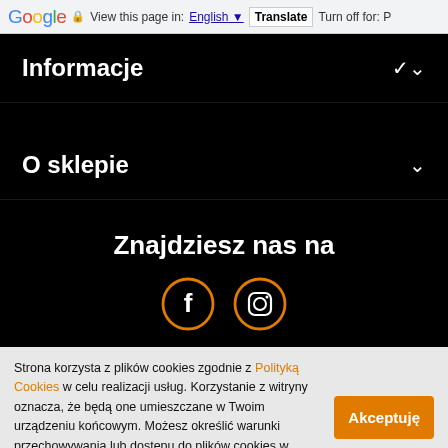Google | View this page in: English | Translate | Turn off for: P
Informacje
O sklepie
Znajdziesz nas na
[Figure (illustration): Facebook and Instagram social media icons as orange-outlined circles on black background]
Strona korzysta z plików cookies zgodnie z Polityką Cookies w celu realizacji usług. Korzystanie z witryny oznacza, że będą one umieszczane w Twoim urządzeniu końcowym. Możesz określić warunki przechowywania lub dostępu do plików cookies w Twojej przeglądarce.